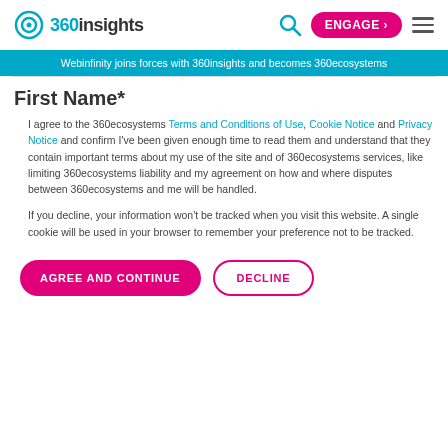360insights — ENGAGE › (hamburger menu)
Webinfinity joins forces with 360insights and becomes 360ecosystems
First Name*
I agree to the 360ecosystems Terms and Conditions of Use, Cookie Notice and Privacy Notice and confirm I've been given enough time to read them and understand that they contain important terms about my use of the site and of 360ecosystems services, like limiting 360ecosystems liability and my agreement on how and where disputes between 360ecosystems and me will be handled.

If you decline, your information won't be tracked when you visit this website. A single cookie will be used in your browser to remember your preference not to be tracked.
AGREE AND CONTINUE   DECLINE